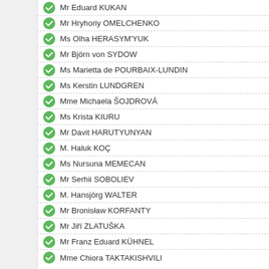Mr Eduard KUKAN
Mr Hryhoriy OMELCHENKO
Ms Olha HERASYM'YUK
Mr Björn von SYDOW
Ms Marietta de POURBAIX-LUNDIN
Ms Kerstin LUNDGREN
Mme Michaela ŠOJDROVÁ
Ms Krista KIURU
Mr Davit HARUTYUNYAN
M. Haluk KOÇ
Ms Nursuna MEMECAN
Mr Serhii SOBOLIEV
M. Hansjörg WALTER
Mr Bronisław KORFANTY
Mr Jiří ZLATUŠKA
Mr Franz Eduard KÜHNEL
Mme Chiora TAKTAKISHVILI